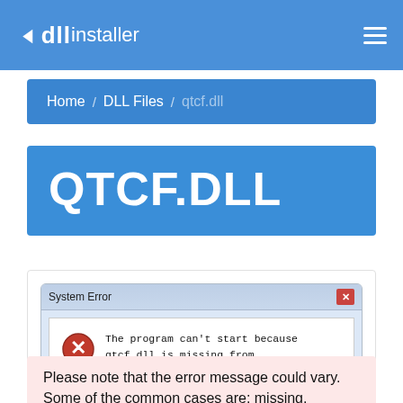dll installer
Home / DLL Files / qtcf.dll
QTCF.DLL
[Figure (screenshot): Windows System Error dialog showing: 'The program can't start because qtcf.dll is missing from your computer. Try reinstalling the program to fix this problem.' with an OK button.]
Please note that the error message could vary. Some of the common cases are: missing, corrupted, crashed, not found etc.